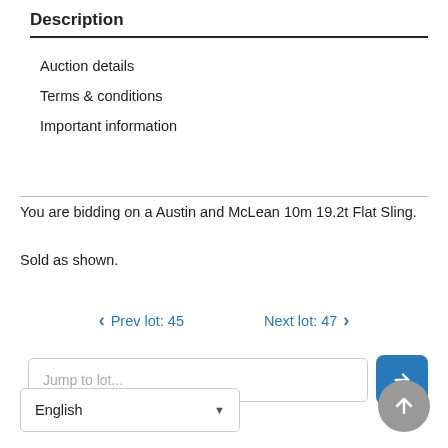Description
Auction details
Terms & conditions
Important information
You are bidding on a Austin and McLean 10m 19.2t Flat Sling.
Sold as shown.
‹ Prev lot: 45     Next lot: 47 ›
Jump to lot...
English